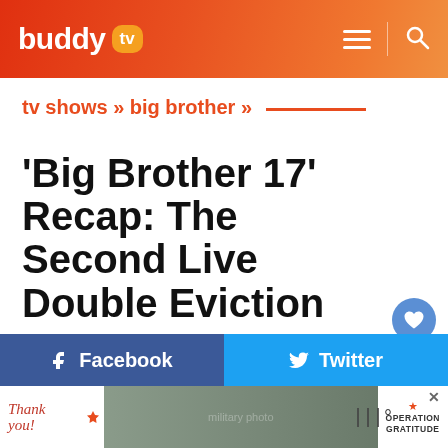buddy tv
tv shows » big brother »
'Big Brother 17' Recap: The Second Live Double Eviction
Sep 3, 2015 • Buddy TV
Facebook
Twitter
[Figure (other): Advertisement banner: Thank you message with Operation Gratitude logo and military imagery]